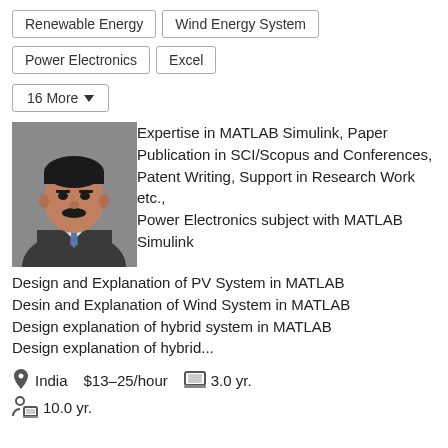Renewable Energy
Wind Energy System
Power Electronics
Excel
16 More ▼
[Figure (photo): Profile photo of a man in a suit and tie]
Expertise in MATLAB Simulink, Paper Publication in SCI/Scopus and Conferences, Patent Writing, Support in Research Work etc., Power Electronics subject with MATLAB Simulink
Design and Explanation of PV System in MATLAB
Desin and Explanation of Wind System in MATLAB
Design explanation of hybrid system in MATLAB
Design explanation of hybrid...
India  $13–25/hour  3.0 yr.
10.0 yr.